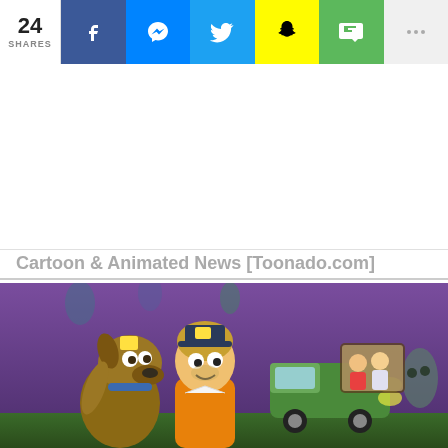24 SHARES | Facebook | Messenger | Twitter | Snapchat | SMS | More
[Figure (other): White advertisement/blank space area below the share bar]
Cartoon & Animated News [Toonado.com]
[Figure (illustration): Scooby-Doo and Shaggy with ghosts and the Mystery Machine in a spooky purple-toned animated scene]